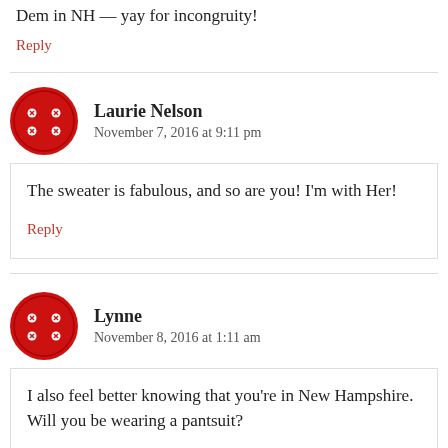Dem in NH — yay for incongruity!
Reply
[Figure (illustration): Red button avatar for Laurie Nelson]
Laurie Nelson
November 7, 2016 at 9:11 pm
The sweater is fabulous, and so are you! I'm with Her!
Reply
[Figure (illustration): Red button avatar for Lynne]
Lynne
November 8, 2016 at 1:11 am
I also feel better knowing that you're in New Hampshire. Will you be wearing a pantsuit?

Besides the political statement, they look much more fashionable to me after watching the Pantsuit Flash Mob dance video shot in NYC's Union Square. (Of